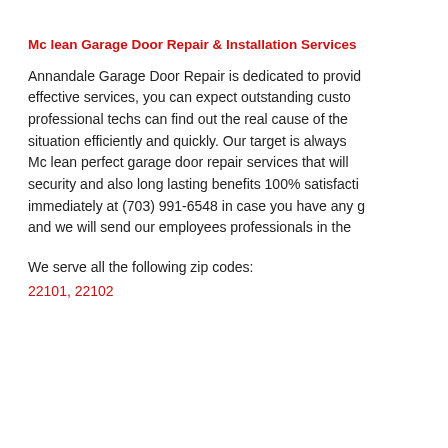Mc lean Garage Door Repair & Installation Services
Annandale Garage Door Repair is dedicated to providing cost-effective services, you can expect outstanding customer service. Our professional techs can find out the real cause of the problem and fix the situation efficiently and quickly. Our target is always to provide Mc lean perfect garage door repair services that will provide maximum security and also long lasting benefits 100% satisfaction. Call us immediately at (703) 991-6548 in case you have any garage door issue and we will send our employees professionals in the area.
We serve all the following zip codes:
22101, 22102